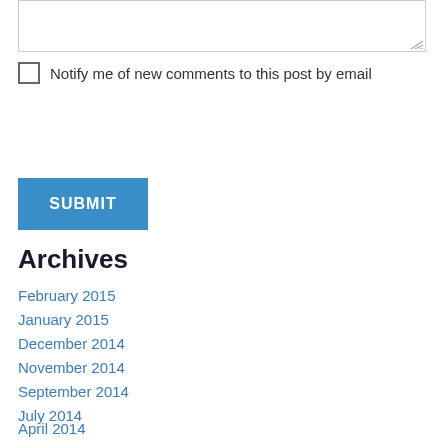[textarea input box]
Notify me of new comments to this post by email
SUBMIT
Archives
February 2015
January 2015
December 2014
November 2014
September 2014
July 2014
April 2014
March 2014
February 2014